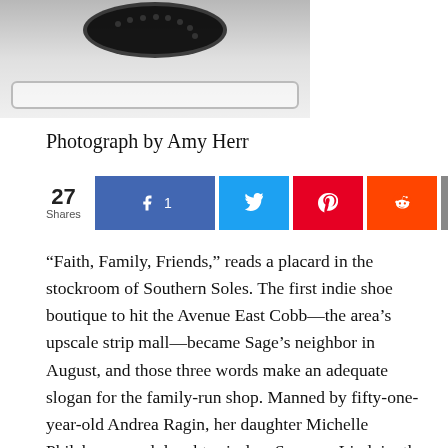[Figure (photo): Partial cropped photograph of a decorative shoe on a white surface, photographer credit Amy Herr]
Photograph by Amy Herr
[Figure (infographic): Social sharing bar showing 27 Shares, Facebook button with count 1, Twitter button, Pinterest button, Reddit button, Email button]
“Faith, Family, Friends,” reads a placard in the stockroom of Southern Soles. The first indie shoe boutique to hit the Avenue East Cobb—the area’s upscale strip mall—became Sage’s neighbor in August, and those three words make an adequate slogan for the family-run shop. Manned by fifty-one-year-old Andrea Ragin, her daughter Michelle Philabaum, and daughter-in-law Summer Lindvig, the store is a higher-end successor to Magnolia’s on